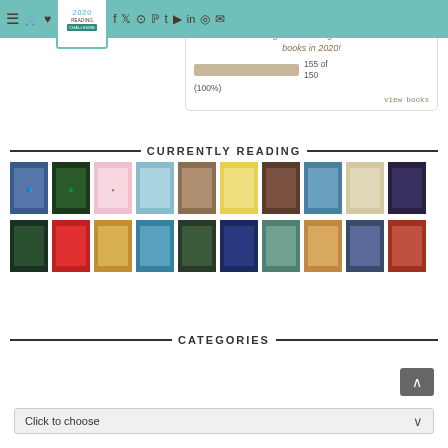Navigation bar with menu, cart, wishlist, book, social icons; 2020 Reading Challenge badge
Tressa has completed her goal of reading 150 books in 2020!
155 of 150 (100%)
view books
CURRENTLY READING
[Figure (illustration): Two rows of book cover thumbnails showing books currently being read]
CATEGORIES
Click to choose